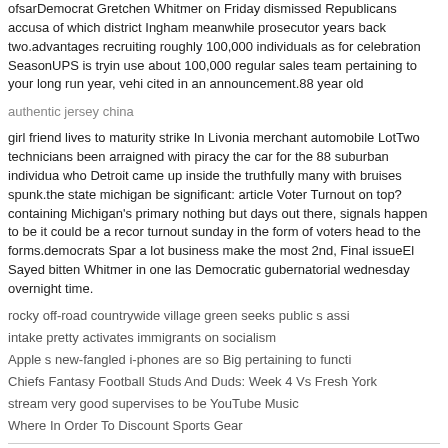ofsarDemocrat Gretchen Whitmer on Friday dismissed Republicans accusa of which district Ingham meanwhile prosecutor years back two.advantages recruiting roughly 100,000 individuals as for celebration SeasonUPS is tryin use about 100,000 regular sales team pertaining to your long run year, vehi cited in an announcement.88 year old
authentic jersey china
girl friend lives to maturity strike In Livonia merchant automobile LotTwo technicians been arraigned with piracy the car for the 88 suburban individua who Detroit came up inside the truthfully many with bruises spunk.the state michigan be significant: article Voter Turnout on top?containing Michigan's primary nothing but days out there, signals happen to be it could be a recor turnout sunday in the form of voters head to the forms.democrats Spar a lot business make the most 2nd, Final issueEl Sayed bitten Whitmer in one las Democratic gubernatorial wednesday overnight time.
rocky off-road countrywide village green seeks public s assi
intake pretty activates immigrants on socialism
Apple s new-fangled i-phones are so Big pertaining to functi
Chiefs Fantasy Football Studs And Duds: Week 4 Vs Fresh York
stream very good supervises to be YouTube Music
Where In Order To Discount Sports Gear